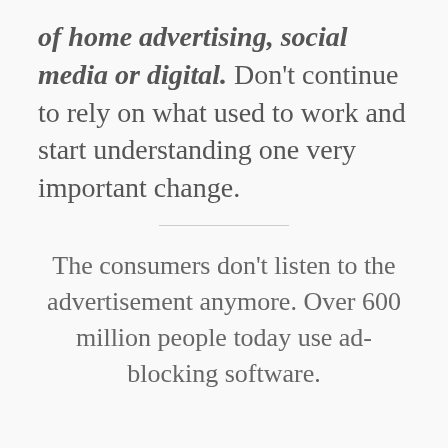of home advertising, social media or digital. Don't continue to rely on what used to work and start understanding one very important change.
The consumers don't listen to the advertisement anymore. Over 600 million people today use ad-blocking software.